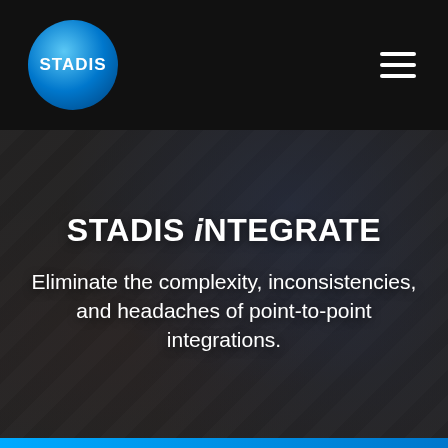[Figure (logo): STADIS circular logo with blue gradient background and white bold text reading STADIS]
STADIS iNTEGRATE
[Figure (photo): Dark overlay hero image showing a blurred retail/store background with a person at a point-of-sale terminal]
STADIS iNTEGRATE
Eliminate the complexity, inconsistencies, and headaches of point-to-point integrations.